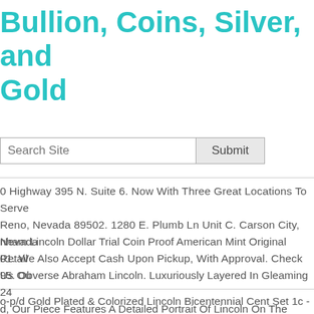Bullion, Coins, Silver, and Gold
[Figure (screenshot): Search bar with 'Search Site' placeholder input and 'Submit' button]
0 Highway 395 N. Suite 6. Now With Three Great Locations To Serve Reno, Nevada 89502. 1280 E. Plumb Ln Unit C. Carson City, Nevada 01. We Also Accept Cash Upon Pickup, With Approval. Check Us Ou
nham Lincoln Dollar Trial Coin Proof American Mint Original Retail 95. Obverse Abraham Lincoln. Luxuriously Layered In Gleaming 24 d, Our Piece Features A Detailed Portrait Of Lincoln On The Obvers e The Coin's Reverse Includes A Remarkable Replication Of The ue Of Liberty.
o-p/d Gold Plated & Colorized Lincoln Bicentennial Cent Set 1c - Lo